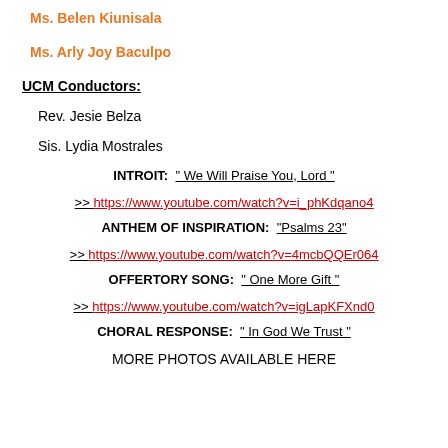Ms. Belen Kiunisala
Ms. Arly Joy Baculpo
UCM Conductors:
Rev. Jesie Belza
Sis. Lydia Mostrales
INTROIT:  " We Will Praise You, Lord " >> https://www.youtube.com/watch?v=i_phKdqano4
ANTHEM OF INSPIRATION:  "Psalms 23" >> https://www.youtube.com/watch?v=4mcbQQEr064
OFFERTORY SONG:  " One More Gift " >> https://www.youtube.com/watch?v=igLapKFXnd0
CHORAL RESPONSE:  " In God We Trust "
MORE PHOTOS AVAILABLE HERE